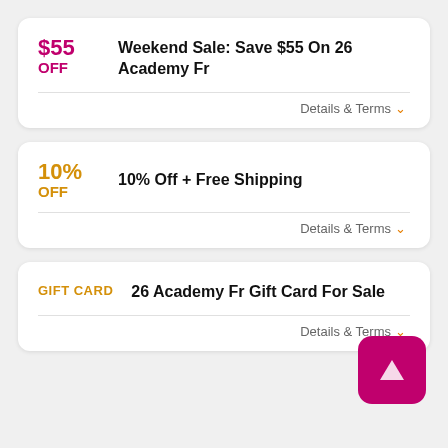$55 OFF — Weekend Sale: Save $55 On 26 Academy Fr — Details & Terms
10% OFF — 10% Off + Free Shipping — Details & Terms
GIFT CARD — 26 Academy Fr Gift Card For Sale — Details & Terms